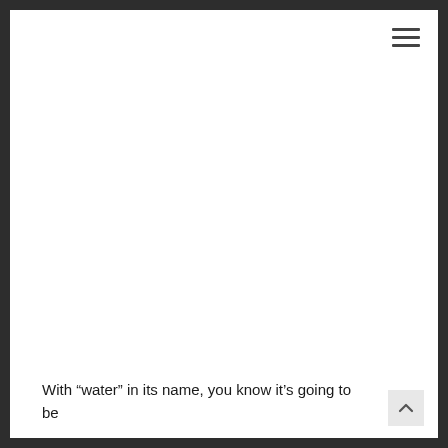[Figure (other): Hamburger menu icon (three horizontal lines) in top-right corner]
With “water” in its name, you know it’s going to be
[Figure (other): Scroll-to-top button with upward chevron arrow in bottom-right corner]